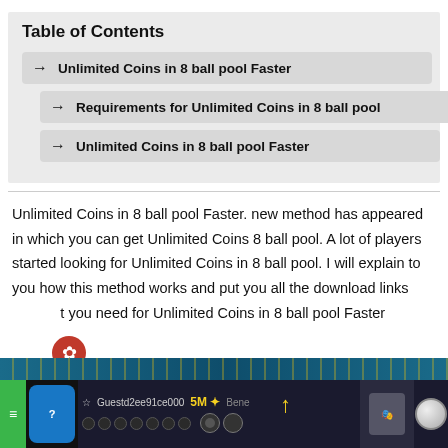Table of Contents
Unlimited Coins in 8 ball pool Faster
Requirements for Unlimited Coins in 8 ball pool
Unlimited Coins in 8 ball pool Faster
Unlimited Coins in 8 ball pool Faster. new method has appeared in which you can get Unlimited Coins 8 ball pool. A lot of players started looking for Unlimited Coins in 8 ball pool. I will explain to you how this method works and put you all the download links t you need for Unlimited Coins in 8 ball pool Faster
[Figure (screenshot): Screenshot of 8 ball pool game interface showing 5M coins, player name Guestd2ee91ce000, game elements with yellow arrow pointing up]